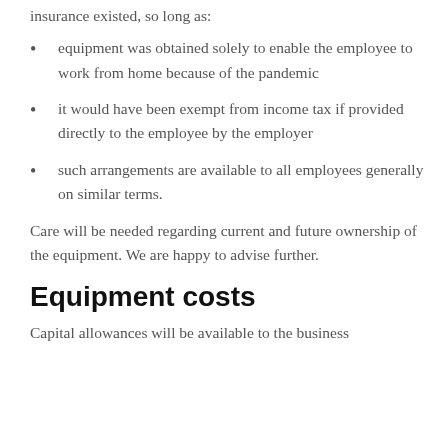insurance existed, so long as:
equipment was obtained solely to enable the employee to work from home because of the pandemic
it would have been exempt from income tax if provided directly to the employee by the employer
such arrangements are available to all employees generally on similar terms.
Care will be needed regarding current and future ownership of the equipment. We are happy to advise further.
Equipment costs
Capital allowances will be available to the business